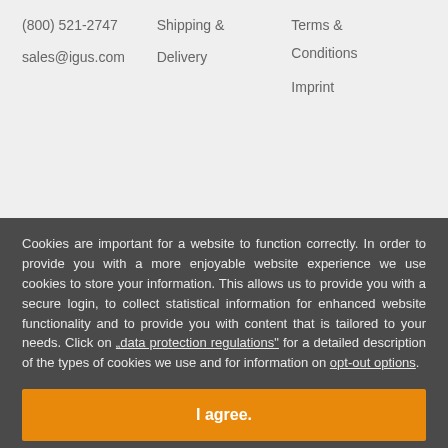(800) 521-2747   sales@igus.com   Shipping & Delivery   Terms & Conditions   Imprint
Cookies are important for a website to function correctly. In order to provide you with a more enjoyable website experience we use cookies to store your information. This allows us to provide you with a secure login, to collect statistical information for enhanced website functionality and to provide you with content that is tailored to your needs. Click on „data protection regulations“ for a detailed description of the types of cookies we use and for information on opt-out options.
By using this website you agree to our use of cookies. Data protection regulations.
I agree.